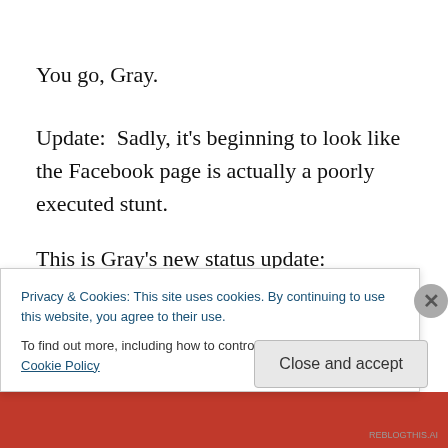You go, Gray.
Update:  Sadly, it's beginning to look like the Facebook page is actually a poorly executed stunt.
This is Gray's new status update:
Sounds like a marketing person trying to sound like a guy who drinks German beer and builds iPhones.  Meanwhile
Privacy & Cookies: This site uses cookies. By continuing to use this website, you agree to their use.
To find out more, including how to control cookies, see here: Cookie Policy
Close and accept